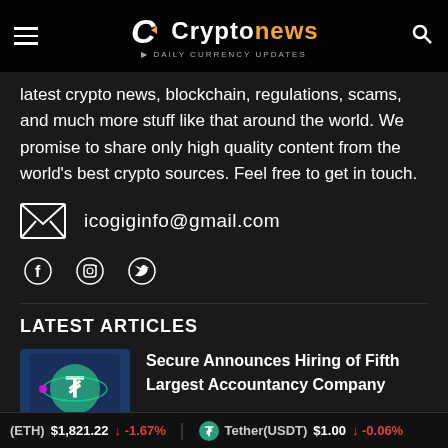Cryptonews · daily currency updates
latest crypto news, blockchain, regulations, scams, and much more stuff like that around the world. We promise to share only high quality content from the world's best crypto sources. Feel free to get in touch.
icogiginfo@gmail.com
[Figure (illustration): Social media icons: Facebook, Instagram, Twitter]
LATEST ARTICLES
Secure Announces Hiring of Fifth Largest Accountancy Company
Ethereum(ETH) $1,821.22 -1.67% | Tether(USDT) $1.00 -0.06%